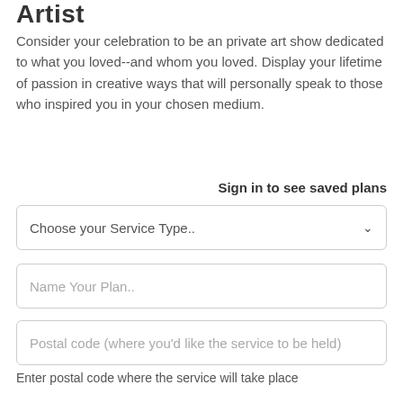Artist
Consider your celebration to be an private art show dedicated to what you loved--and whom you loved. Display your lifetime of passion in creative ways that will personally speak to those who inspired you in your chosen medium.
Sign in to see saved plans
Choose your Service Type..
Name Your Plan..
Postal code (where you'd like the service to be held)
Enter postal code where the service will take place